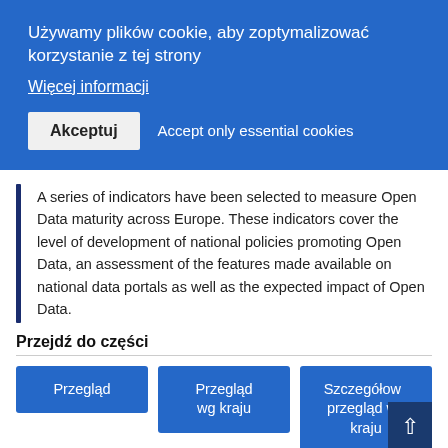Używamy plików cookie, aby zoptymalizować korzystanie z tej strony
Więcej informacji
Akceptuj
Accept only essential cookies
A series of indicators have been selected to measure Open Data maturity across Europe. These indicators cover the level of development of national policies promoting Open Data, an assessment of the features made available on national data portals as well as the expected impact of Open Data.
Przejdź do części
Przegląd
Przegląd wg kraju
Szczegółowy przegląd wg kraju